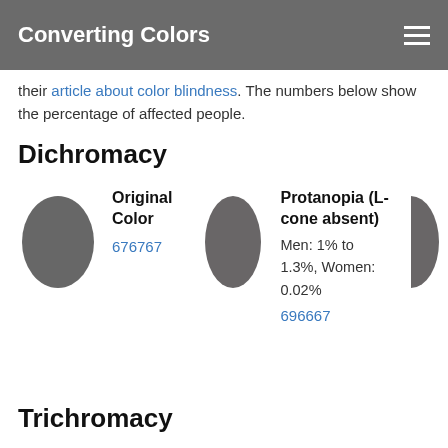Converting Colors
their article about color blindness. The numbers below show the percentage of affected people.
Dichromacy
[Figure (illustration): Original Color oval swatch in grey (#676767)]
Original Color
676767
[Figure (illustration): Protanopia (L-cone absent) oval swatch in grey (#696667)]
Protanopia (L-cone absent)
Men: 1% to 1.3%, Women: 0.02%
696667
Trichromacy